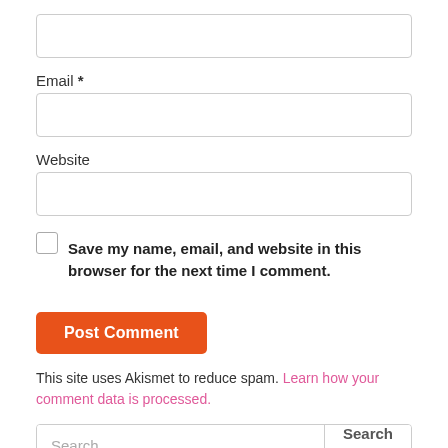[Figure (screenshot): Empty text input box (top of page, no label visible)]
Email *
[Figure (screenshot): Empty email input box]
Website
[Figure (screenshot): Empty website input box]
Save my name, email, and website in this browser for the next time I comment.
[Figure (screenshot): Post Comment button (orange)]
This site uses Akismet to reduce spam. Learn how your comment data is processed.
[Figure (screenshot): Search bar with Search button]
Recent Posts